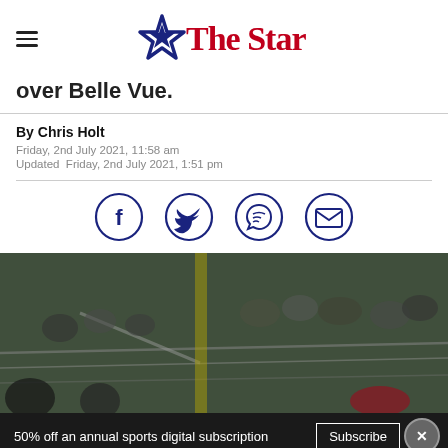The Star
over Belle Vue.
By Chris Holt
Friday, 2nd July 2021, 11:58 am
Updated  Friday, 2nd July 2021, 1:51 pm
[Figure (infographic): Social share icons: Facebook, Twitter, WhatsApp, Email — dark navy outlined circles]
[Figure (photo): Crowd at a speedway or motorsport event, visible spectators behind metal barriers, yellow post visible]
50% off an annual sports digital subscription
Subscribe